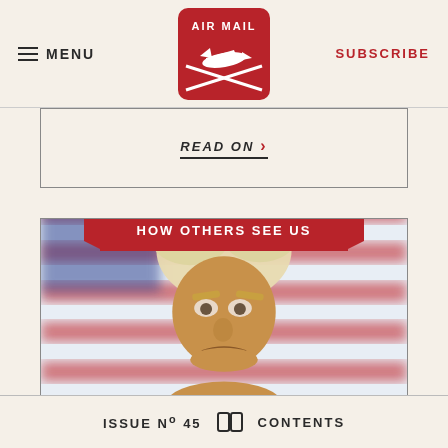MENU | AIR MAIL | SUBSCRIBE
READ ON
[Figure (photo): A Trump caricature action figure with blond swept-back hair and an American flag background, section labeled HOW OTHERS SEE US]
ISSUE No 45   CONTENTS